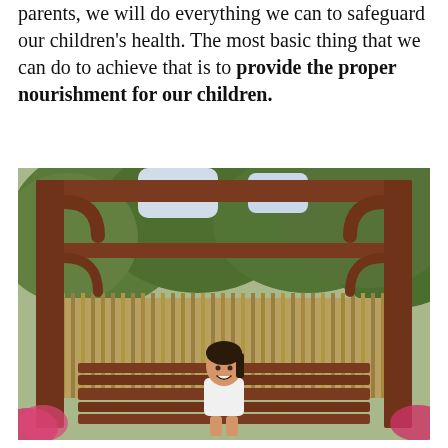parents, we will do everything we can to safeguard our children's health. The most basic thing that we can do to achieve that is to provide the proper nourishment for our children.
[Figure (photo): A young girl sitting on a wooden swing bench under a large dark-reddish wooden pergola structure, surrounded by lush green trees and bamboo fence in the background.]